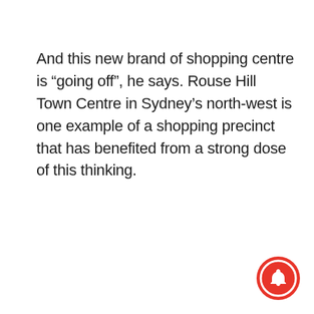And this new brand of shopping centre is “going off”, he says. Rouse Hill Town Centre in Sydney’s north-west is one example of a shopping precinct that has benefited from a strong dose of this thinking.